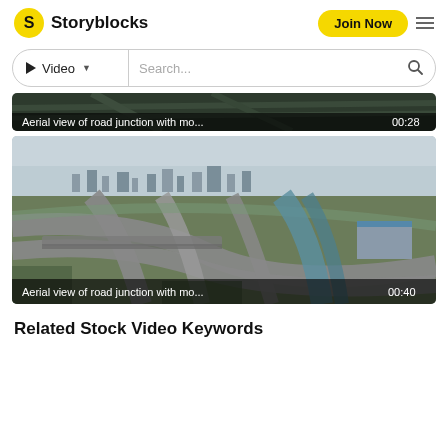Storyblocks
Video Search...
[Figure (screenshot): Aerial view of road junction video thumbnail (partially visible), with label bar: 'Aerial view of road junction with mo...  00:28']
[Figure (screenshot): Aerial view of road junction video thumbnail (full card), showing highway interchange with river, city in background. Label bar: 'Aerial view of road junction with mo...  00:40']
Related Stock Video Keywords